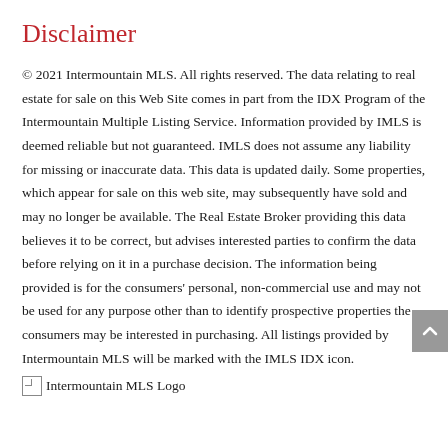Disclaimer
© 2021 Intermountain MLS. All rights reserved. The data relating to real estate for sale on this Web Site comes in part from the IDX Program of the Intermountain Multiple Listing Service. Information provided by IMLS is deemed reliable but not guaranteed. IMLS does not assume any liability for missing or inaccurate data. This data is updated daily. Some properties, which appear for sale on this web site, may subsequently have sold and may no longer be available. The Real Estate Broker providing this data believes it to be correct, but advises interested parties to confirm the data before relying on it in a purchase decision. The information being provided is for the consumers' personal, non-commercial use and may not be used for any purpose other than to identify prospective properties the consumers may be interested in purchasing. All listings provided by Intermountain MLS will be marked with the IMLS IDX icon.
[Figure (logo): Intermountain MLS Logo]